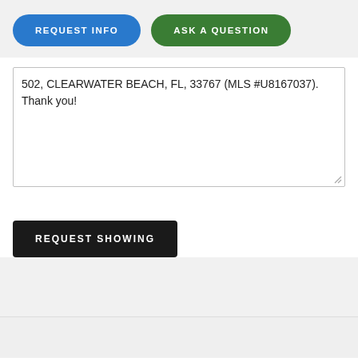REQUEST INFO
ASK A QUESTION
502, CLEARWATER BEACH, FL, 33767 (MLS #U8167037). Thank you!
REQUEST SHOWING